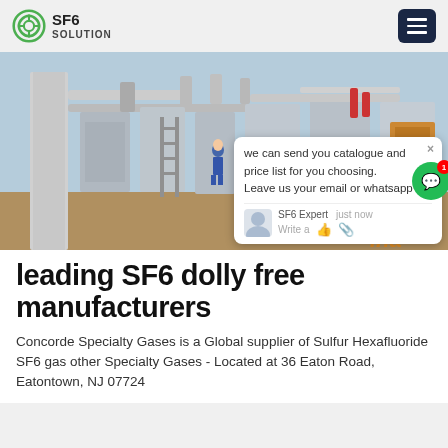SF6 SOLUTION
[Figure (photo): Industrial electrical substation with large SF6 gas-insulated switchgear equipment, pipes, scaffolding structures, and a worker in blue coveralls visible in the background. A chat popup overlay is visible on the right side showing a message from an SF6 Expert.]
leading SF6 dolly free manufacturers
Concorde Specialty Gases is a Global supplier of Sulfur Hexafluoride SF6 gas other Specialty Gases - Located at 36 Eaton Road, Eatontown, NJ 07724